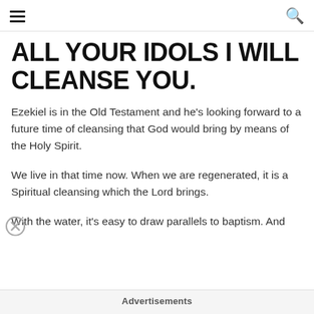[hamburger menu] [search icon]
ALL YOUR IDOLS I WILL CLEANSE YOU.
Ezekiel is in the Old Testament and he's looking forward to a future time of cleansing that God would bring by means of the Holy Spirit.
We live in that time now. When we are regenerated, it is a Spiritual cleansing which the Lord brings.
With the water, it's easy to draw parallels to baptism. And
Advertisements